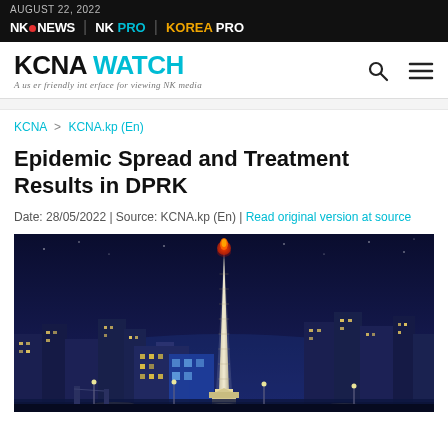AUGUST 22, 2022 | NK NEWS | NK PRO | KOREA PRO
KCNA WATCH — A user friendly interface for viewing NK media
KCNA > KCNA.kp (En)
Epidemic Spread and Treatment Results in DPRK
Date: 28/05/2022 | Source: KCNA.kp (En) | Read original version at source
[Figure (photo): Night-time cityscape of Pyongyang, North Korea, featuring the illuminated Juche Tower in the center with a glowing red flame at the top. City buildings and lights are visible in the background against a dark blue night sky.]